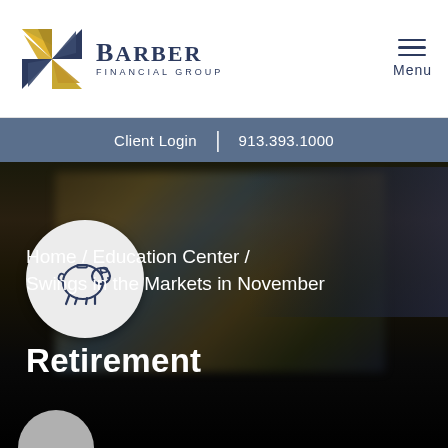[Figure (logo): Barber Financial Group logo with golden pinwheel icon and serif text]
Client Login | 913.393.1000
[Figure (photo): Dark hero image with blurred crowd of people in background and piggy bank icon circle overlay]
Home / Education Center / Swings in the Markets in November
Retirement